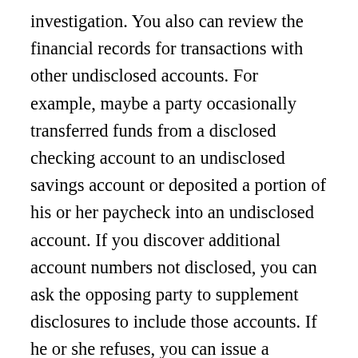investigation. You also can review the financial records for transactions with other undisclosed accounts. For example, maybe a party occasionally transferred funds from a disclosed checking account to an undisclosed savings account or deposited a portion of his or her paycheck into an undisclosed account. If you discover additional account numbers not disclosed, you can ask the opposing party to supplement disclosures to include those accounts. If he or she refuses, you can issue a subpoena to the financial institution for direct production of that information, though there are costs to consider when issuing subpoenas. In addition to the filing fee with the Superior Court, the responding party also is entitled to statutorily-defined costs to answer the subpoena. You can ask the family court to order the opposing party to reimburse these costs but that is never guaranteed so it is important to weigh the potential cost against the benefit of subpoenas.